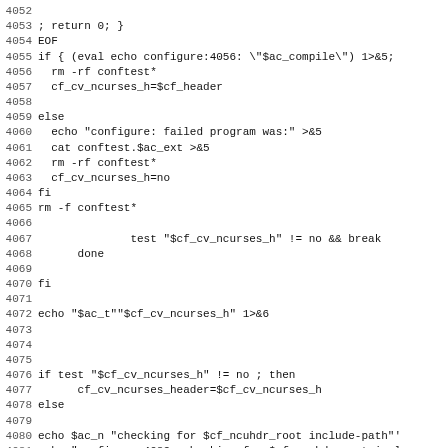Source code listing, lines 4052-4083, shell/configure script
4052 (blank)
4053 ; return 0; }
4054 EOF
4055 if { (eval echo configure:4056: \"$ac_compile\") 1>&5;
4056   rm -rf conftest*
4057   cf_cv_ncurses_h=$cf_header
4058 (blank)
4059 else
4060   echo "configure: failed program was:" >&5
4061   cat conftest.$ac_ext >&5
4062   rm -rf conftest*
4063   cf_cv_ncurses_h=no
4064 fi
4065 rm -f conftest*
4066 (blank)
4067               test "$cf_cv_ncurses_h" != no && break
4068       done
4069 (blank)
4070 fi
4071 (blank)
4072 echo "$ac_t""$cf_cv_ncurses_h" 1>&6
4073 (blank)
4074 (blank)
4075 (blank)
4076 if test "$cf_cv_ncurses_h" != no ; then
4077       cf_cv_ncurses_header=$cf_cv_ncurses_h
4078 else
4079 (blank)
4080 echo $ac_n "checking for $cf_ncuhdr_root include-path"'
4081 echo "configure:4082: checking for $cf_ncuhdr_root incl
4082 if eval "test \"'echo '$''{'cf_cv_ncurses_h2'+set}''\"}
4083   echo $ac_n "(cached) $ac_c" 1>&6